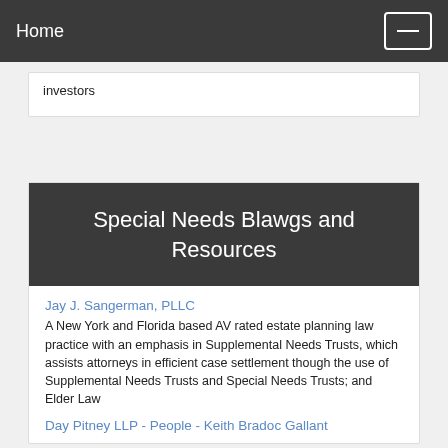Home
investors
Special Needs Blawgs and Resources
Jay J. Sangerman, PLLC
A New York and Florida based AV rated estate planning law practice with an emphasis in Supplemental Needs Trusts, which assists attorneys in efficient case settlement though the use of Supplemental Needs Trusts and Special Needs Trusts; and Elder Law
Day Pitney LLP - People - Keith Bradoc Gallant